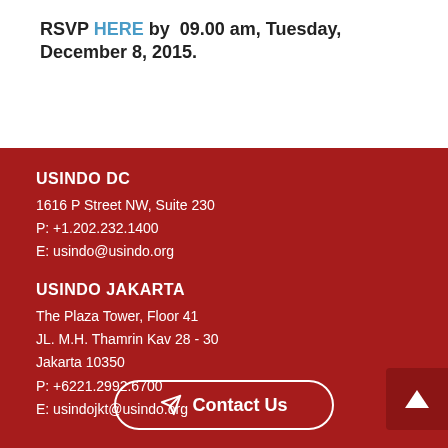RSVP HERE by 09.00 am, Tuesday, December 8, 2015.
USINDO DC
1616 P Street NW, Suite 230
P: +1.202.232.1400
E: usindo@usindo.org
USINDO JAKARTA
The Plaza Tower, Floor 41
JL. M.H. Thamrin Kav 28 - 30
Jakarta 10350
P: +6221.2992.6700
E: usindojkt@usindo.org
Contact Us